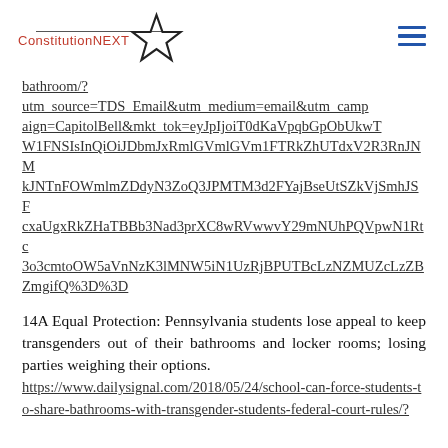ConstitutionNEXT
bathroom/?utm_source=TDS_Email&utm_medium=email&utm_campaign=CapitolBell&mkt_tok=eyJpIjoiT0dKaVpqbGpObUkwTW1FNSIsInQiOiJDbmJxRmlGVm1FTRkZhUTdxV2R3RnJNMkJNTnFOWmlmZDdyN3ZoQ3JPMTM3d2FYajBseUtSZkVjSmhJSFcxaUgxRkZHaTBBb3Nad3prXC8wRVwwvY29mNUhPQVpwN1Rtc3o3cmtoOW5aVnNzK3lMNW5N1UzRjBPUTBcLzNZMUZcLzZBZmgifQ%3D%3D
14A Equal Protection: Pennsylvania students lose appeal to keep transgenders out of their bathrooms and locker rooms; losing parties weighing their options.
https://www.dailysignal.com/2018/05/24/school-can-force-students-to-share-bathrooms-with-transgender-students-federal-court-rules/?